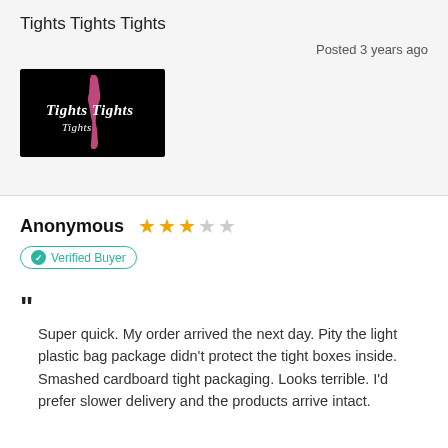Tights Tights Tights
Posted 3 years ago
[Figure (logo): Tights Tights Tights company logo — white cursive text on black background with a pink leg/stocking illustration]
Anonymous ★★★☆☆
Verified Buyer
Super quick. My order arrived the next day. Pity the light plastic bag package didn't protect the tight boxes inside. Smashed cardboard tight packaging. Looks terrible. I'd prefer slower delivery and the products arrive intact.